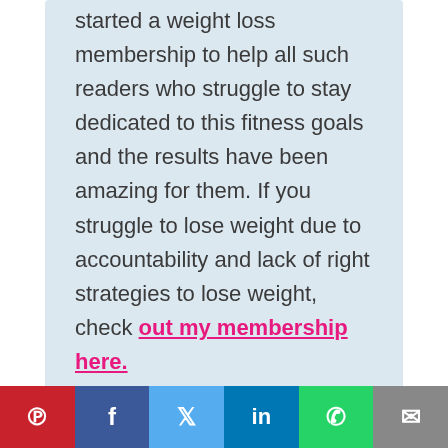started a weight loss membership to help all such readers who struggle to stay dedicated to this fitness goals and the results have been amazing for them. If you struggle to lose weight due to accountability and lack of right strategies to lose weight, check out my membership here.
1. Wake Up Early
[Figure (other): Social sharing bar with Pinterest, Facebook, Twitter, LinkedIn, WhatsApp, and Email buttons]